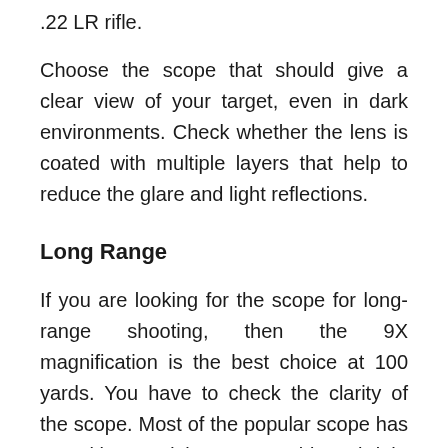.22 LR rifle.
Choose the scope that should give a clear view of your target, even in dark environments. Check whether the lens is coated with multiple layers that help to reduce the glare and light reflections.
Long Range
If you are looking for the scope for long-range shooting, then the 9X magnification is the best choice at 100 yards. You have to check the clarity of the scope. Most of the popular scope has a multi coated lens to provide a bright and clear vision.